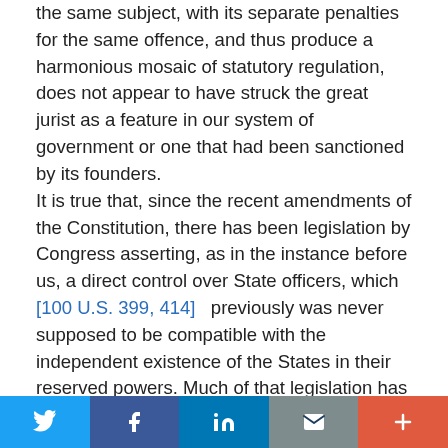the same subject, with its separate penalties for the same offence, and thus produce a harmonious mosaic of statutory regulation, does not appear to have struck the great jurist as a feature in our system of government or one that had been sanctioned by its founders.

It is true that, since the recent amendments of the Constitution, there has been legislation by Congress asserting, as in the instance before us, a direct control over State officers, which [100 U.S. 399, 414] previously was never supposed to be compatible with the independent existence of the States in their reserved powers. Much of that legislation has yet to be brought to the test of judicial examination; and, until the recent decisions in the Virginia cases, I could not have believed that the former carefully considered and repeated judgments of this court upon provisions of the Constitution, and upon the general
Twitter Facebook LinkedIn Email More